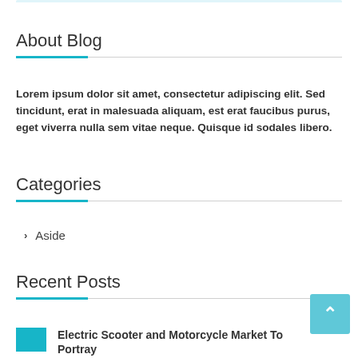About Blog
Lorem ipsum dolor sit amet, consectetur adipiscing elit. Sed tincidunt, erat in malesuada aliquam, est erat faucibus purus, eget viverra nulla sem vitae neque. Quisque id sodales libero.
Categories
Aside
Recent Posts
Electric Scooter and Motorcycle Market To Portray